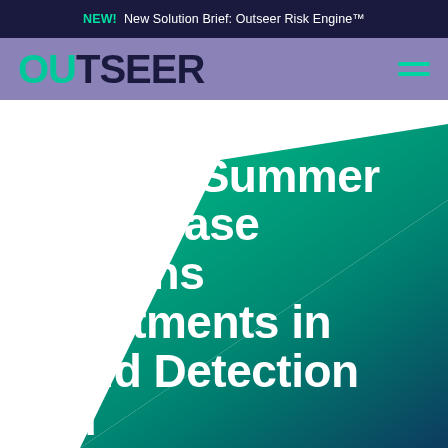NEW! New Solution Brief: Outseer Risk Engine™
[Figure (logo): Outseer logo in teal and dark navy on purple/lavender navigation bar with hamburger menu icon]
[Figure (illustration): Dark teal to green gradient geometric diamond/rhombus shape on white background forming a hero image]
Outseer Summer '22 Release Deepens Investments in Fraud Detection and